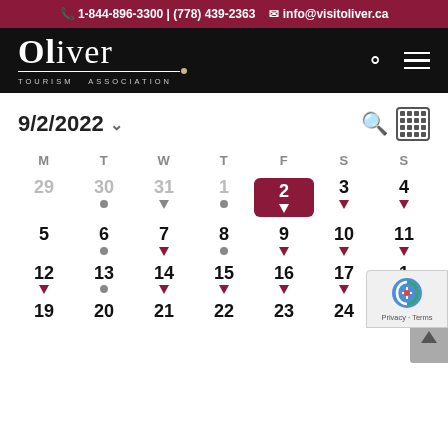📞 1-844-896-3300 | (778) 439-2363  ✉ info@visitoliver.ca
[Figure (logo): Oliver Tourism Association logo on black navigation bar with search and menu icons]
9/2/2022
| M | T | W | T | F | S | S |
| --- | --- | --- | --- | --- | --- | --- |
| 29 | 30 • | 31 🔖 | 1 • | 2 🔖 | 3 🔖 | 4 🔖 |
| 5 | 6 • | 7 🔖 | 8 • | 9 🔖 | 10 🔖 | 11 🔖 |
| 12 🔖 | 13 • | 14 🔖 | 15 🔖 | 16 🔖 | 17 🔖 | 1 |
| 19 | 20 | 21 | 22 | 23 | 24 | 25 |